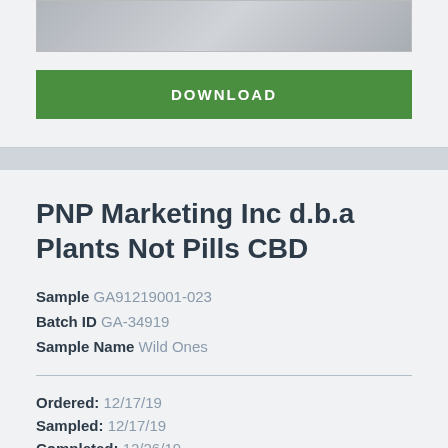[Figure (screenshot): Preview thumbnail image of a document]
DOWNLOAD
PNP Marketing Inc d.b.a Plants Not Pills CBD
Sample GA91219001-023
Batch ID GA-34919
Sample Name Wild Ones
Ordered: 12/17/19
Sampled: 12/17/19
Completed: 12/26/19